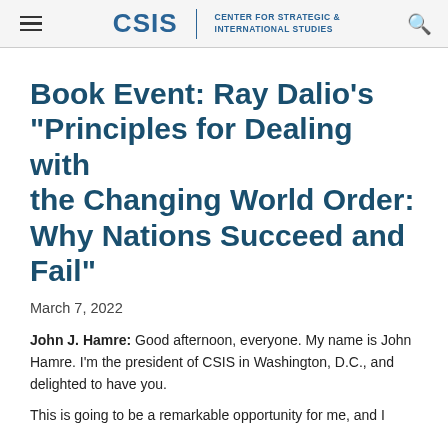CSIS | CENTER FOR STRATEGIC & INTERNATIONAL STUDIES
Book Event: Ray Dalio's "Principles for Dealing with the Changing World Order: Why Nations Succeed and Fail"
March 7, 2022
John J. Hamre: Good afternoon, everyone. My name is John Hamre. I'm the president of CSIS in Washington, D.C., and delighted to have you.
This is going to be a remarkable opportunity for me, and I